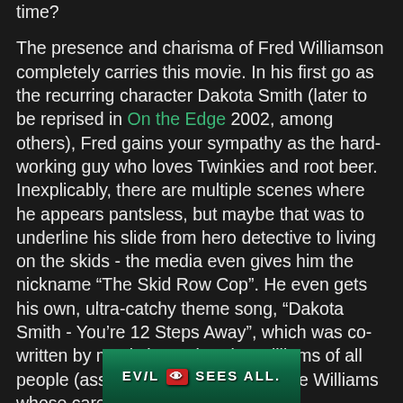time?

The presence and charisma of Fred Williamson completely carries this movie. In his first go as the recurring character Dakota Smith (later to be reprised in On the Edge 2002, among others), Fred gains your sympathy as the hard-working guy who loves Twinkies and root beer. Inexplicably, there are multiple scenes where he appears pantsless, but maybe that was to underline his slide from hero detective to living on the skids - the media even gives him the nickname “The Skid Row Cop”. He even gets his own, ultra-catchy theme song, “Dakota Smith - You’re 12 Steps Away”, which was co-written by music legend Andre Williams of all people (assuming it’s the same Andre Williams whose career goes back to the 50’s).
[Figure (other): Bottom portion of a movie image showing text 'EVIL SEES ALL.' on a dark green background]